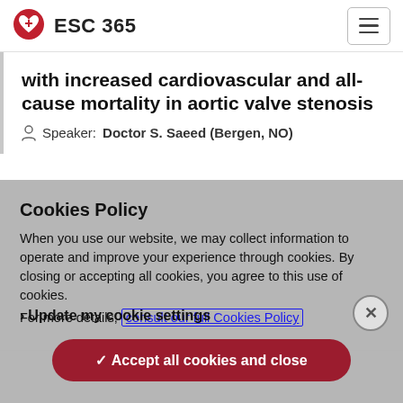ESC 365
with increased cardiovascular and all-cause mortality in aortic valve stenosis
Speaker: Doctor S. Saeed (Bergen, NO)
Cookies Policy
When you use our website, we may collect information to operate and improve your experience through cookies. By closing or accepting all cookies, you agree to this use of cookies.
For more details, consult our full Cookies Policy
✓ Accept all cookies and close
› Update my cookie settings